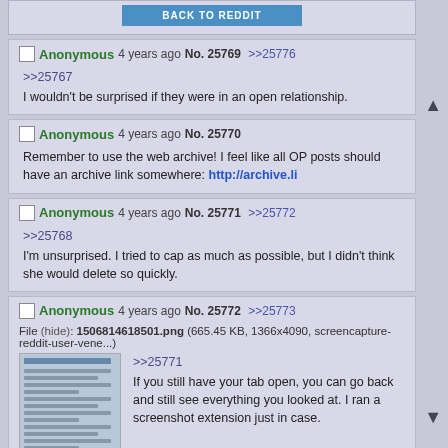[Figure (screenshot): Partial forum post showing a blue 'BACK TO REDDIT' button]
Anonymous 4 years ago No. 25769 >>25776
>>25767
I wouldn't be surprised if they were in an open relationship.
Anonymous 4 years ago No. 25770
Remember to use the web archive! I feel like all OP posts should have an archive link somewhere: http://archive.li
Anonymous 4 years ago No. 25771 >>25772
>>25768
I'm unsurprised. I tried to cap as much as possible, but I didn't think she would delete so quickly.
Anonymous 4 years ago No. 25772 >>25773
File (hide): 1506814618501.png (665.45 KB, 1366x4090, screencapture-reddit-user-vene...)
>>25771
If you still have your tab open, you can go back and still see everything you looked at. I ran a screenshot extension just in case.